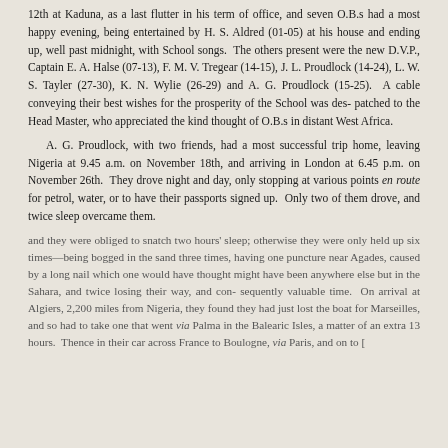12th at Kaduna, as a last flutter in his term of office, and seven O.B.s had a most happy evening, being entertained by H. S. Aldred (01-05) at his house and ending up, well past midnight, with School songs. The others present were the new D.V.P., Captain E. A. Halse (07-13), F. M. V. Tregear (14-15), J. L. Proudlock (14-24), L. W. S. Tayler (27-30), K. N. Wylie (26-29) and A. G. Proudlock (15-25). A cable conveying their best wishes for the prosperity of the School was despatched to the Head Master, who appreciated the kind thought of O.B.s in distant West Africa.
A. G. Proudlock, with two friends, had a most successful trip home, leaving Nigeria at 9.45 a.m. on November 18th, and arriving in London at 6.45 p.m. on November 26th. They drove night and day, only stopping at various points en route for petrol, water, or to have their passports signed up. Only two of them drove, and twice sleep overcame them.
and they were obliged to snatch two hours' sleep; otherwise they were only held up six times—being bogged in the sand three times, having one puncture near Agades, caused by a long nail which one would have thought might have been anywhere else but in the Sahara, and twice losing their way, and consequently valuable time. On arrival at Algiers, 2,200 miles from Nigeria, they found they had just lost the boat for Marseilles, and so had to take one that went via Palma in the Balearic Isles, a matter of an extra 13 hours. Thence in their car across France to Boulogne, via Paris, and on to [continued]